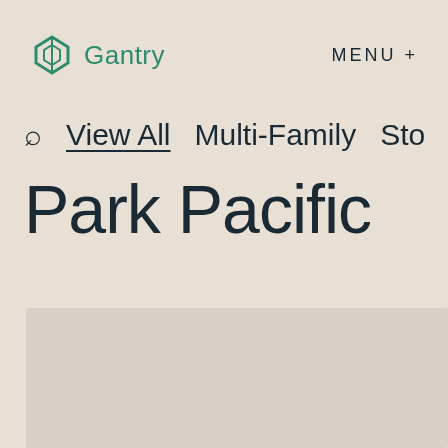Gantry   MENU +
🔍  View All   Multi-Family   Sto
Park Pacific
[Figure (photo): Light beige/grey rectangular image placeholder area]